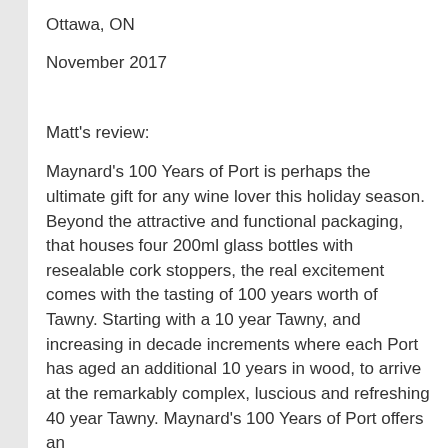Ottawa, ON
November 2017
Matt's review:
Maynard's 100 Years of Port is perhaps the ultimate gift for any wine lover this holiday season. Beyond the attractive and functional packaging, that houses four 200ml glass bottles with resealable cork stoppers, the real excitement comes with the tasting of 100 years worth of Tawny. Starting with a 10 year Tawny, and increasing in decade increments where each Port has aged an additional 10 years in wood, to arrive at the remarkably complex, luscious and refreshing 40 year Tawny. Maynard's 100 Years of Port offers an